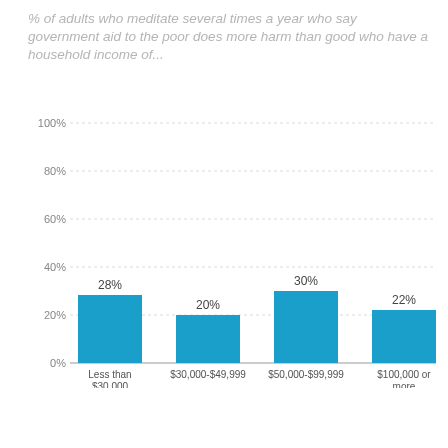% of adults who meditate several times a year who say government aid to the poor does more harm than good who have a household income of...
[Figure (bar-chart): % of adults who meditate several times a year who say government aid to the poor does more harm than good who have a household income of...]